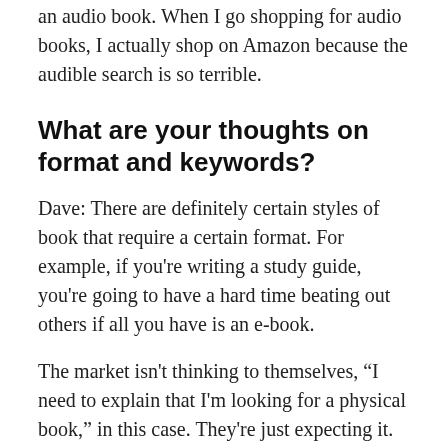an audio book. When I go shopping for audio books, I actually shop on Amazon because the audible search is so terrible.
What are your thoughts on format and keywords?
Dave: There are definitely certain styles of book that require a certain format. For example, if you're writing a study guide, you're going to have a hard time beating out others if all you have is an e-book.
The market isn't thinking to themselves, “I need to explain that I'm looking for a physical book,” in this case. They're just expecting it. So we're